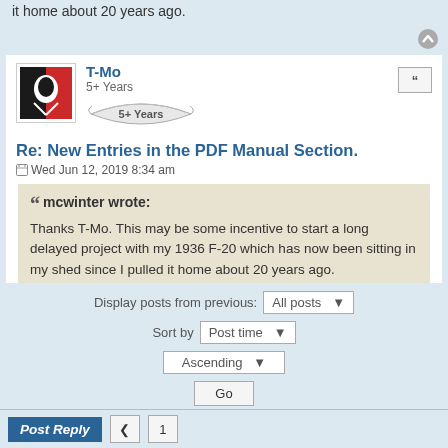it home about 20 years ago.
T-Mo
5+ Years
Re: New Entries in the PDF Manual Section.
Wed Jun 12, 2019 8:34 am
mcwinter wrote:
Thanks T-Mo. This may be some incentive to start a long delayed project with my 1936 F-20 which has now been sitting in my shed since I pulled it home about 20 years ago.
If you do, be sure to start a thread here on your progress (and remember, most of us, me included, love pictures). 🙂
Display posts from previous: All posts ▼
Sort by Post time ▼
Ascending ▼
Go
Post Reply